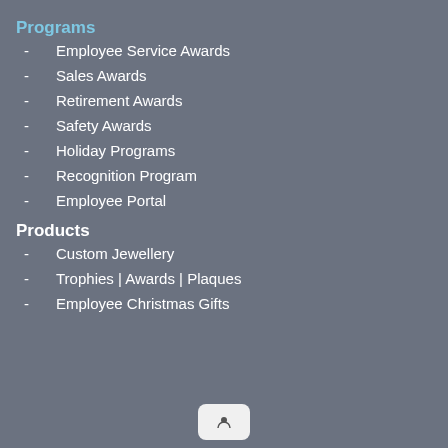Programs
Employee Service Awards
Sales Awards
Retirement Awards
Safety Awards
Holiday Programs
Recognition Program
Employee Portal
Products
Custom Jewellery
Trophies | Awards | Plaques
Employee Christmas Gifts